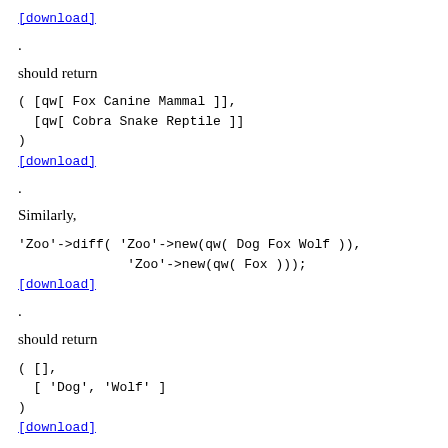[download].
should return
[download].
Similarly,
[download].
should return
[download].
Updates: Please, use <readmore> tags for the code.
Use only the documented API in the solution (i.e. Parent and get_leaves). The tree structure is not accessible directly (in reality, it was stored in a database).